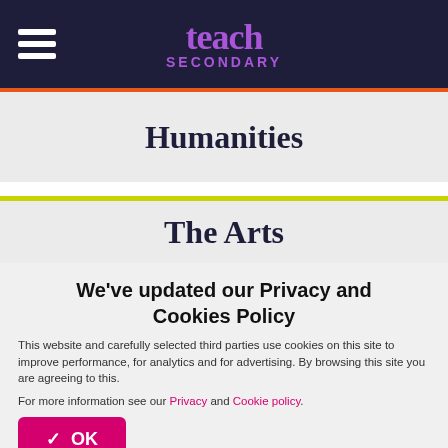teach SECONDARY
Humanities
The Arts
We've updated our Privacy and Cookies Policy
This website and carefully selected third parties use cookies on this site to improve performance, for analytics and for advertising. By browsing this site you are agreeing to this.
For more information see our Privacy and Cookie policy.